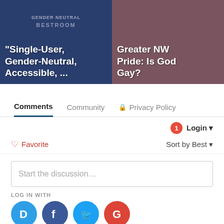[Figure (screenshot): Two article thumbnail cards: left shows a dark blue sign reading 'Single-User, Gender-Neutral, Accessible, ...' with faint text 'GENDER NEUTRAL BESTROOM'; right shows a person in pink shirt with text 'Greater NW Pride: Is God Gay?']
Comments   Community   🔒 Privacy Policy
1  Login ▾
♡ Favorite   Sort by Best ▾
Start the discussion…
LOG IN WITH
[Figure (screenshot): Four social login icons: Disqus (blue circle with D), Facebook (dark blue circle with f), Twitter (light blue circle with bird), Google (red circle with G)]
OR SIGN UP WITH DISQUS ?
Name